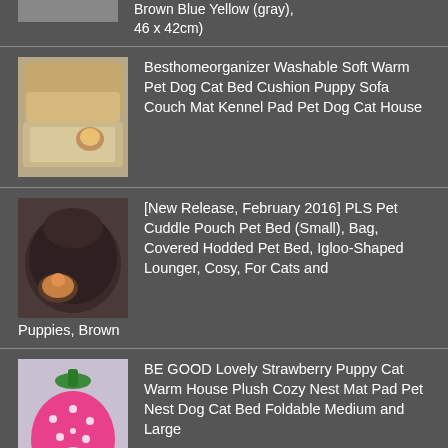[Figure (photo): Partial product image cut off at top of page — pet bed mat]
Brown Blue Yellow (gray), 46 x 42cm)
[Figure (photo): Pet dog cat bed cushion — beige sofa-style bed and flat mat with dog on it]
Besthomeorganizer Washable Soft Warm Pet Dog Cat Bed Cushion Puppy Sofa Couch Mat Kennel Pad Pet Dog Cat House
[Figure (photo): Dark brown igloo/pouch shaped pet bed with a cat inside]
[New Release, February 2016] PLS Pet Cuddle Pouch Pet Bed (Small), Bag, Covered Hodded Pet Bed, Igloo-Shaped Lounger, Cosy, For Cats and Puppies, Brown
[Figure (photo): Pink strawberry shaped pet house with white polka dots and green stem]
BE GOOD Lovely Strawberry Puppy Cat Warm House Plush Cozy Nest Mat Pad Pet Nest Dog Cat Bed Foldable Medium and Large